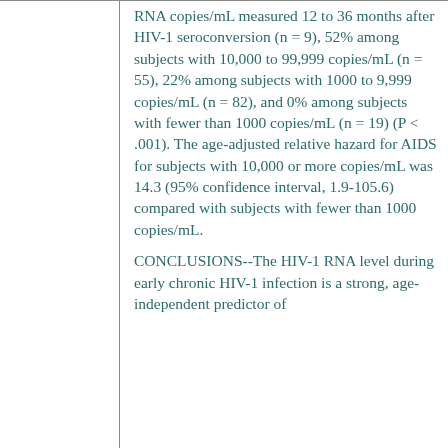RNA copies/mL measured 12 to 36 months after HIV-1 seroconversion (n = 9), 52% among subjects with 10,000 to 99,999 copies/mL (n = 55), 22% among subjects with 1000 to 9,999 copies/mL (n = 82), and 0% among subjects with fewer than 1000 copies/mL (n = 19) (P < .001). The age-adjusted relative hazard for AIDS for subjects with 10,000 or more copies/mL was 14.3 (95% confidence interval, 1.9-105.6) compared with subjects with fewer than 1000 copies/mL.
CONCLUSIONS--The HIV-1 RNA level during early chronic HIV-1 infection is a strong, age-independent predictor of